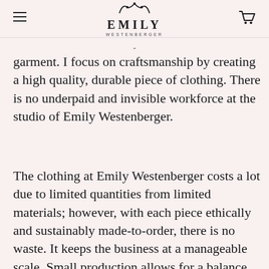EMILY WESTENBERGER
garment. I focus on craftsmanship by creating a high quality, durable piece of clothing. There is no underpaid and invisible workforce at the studio of Emily Westenberger.
The clothing at Emily Westenberger costs a lot due to limited quantities from limited materials; however, with each piece ethically and sustainably made-to-order, there is no waste. It keeps the business at a manageable scale. Small production allows for a balance between my mental satisfaction and the needs of my business.